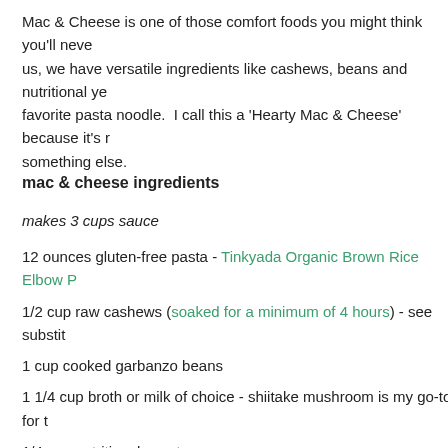Mac & Cheese is one of those comfort foods you might think you'll never enjoy again, but trust us, we have versatile ingredients like cashews, beans and nutritional yeast that pair well with your favorite pasta noodle.  I call this a 'Hearty Mac & Cheese' because it's more than just mac - it's something else.
mac & cheese ingredients
makes 3 cups sauce
12 ounces gluten-free pasta - Tinkyada Organic Brown Rice Elbow P...
1/2 cup raw cashews (soaked for a minimum of 4 hours) - see substi...
1 cup cooked garbanzo beans
1 1/4 cup broth or milk of choice - shiitake mushroom is my go-to for ...
1/4 cup nutritional yeast
2 garlic cloves peeled
1 tablespoon coconut vinegar or apple cider vinegar